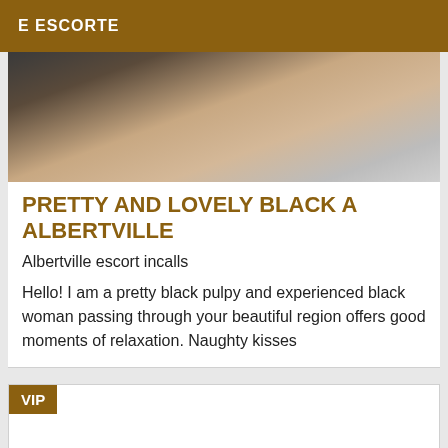E ESCORTE
[Figure (photo): Close-up photo of legs/feet on a bed with a shoe or heel visible]
PRETTY AND LOVELY BLACK A ALBERTVILLE
Albertville escort incalls
Hello! I am a pretty black pulpy and experienced black woman passing through your beautiful region offers good moments of relaxation. Naughty kisses
VIP